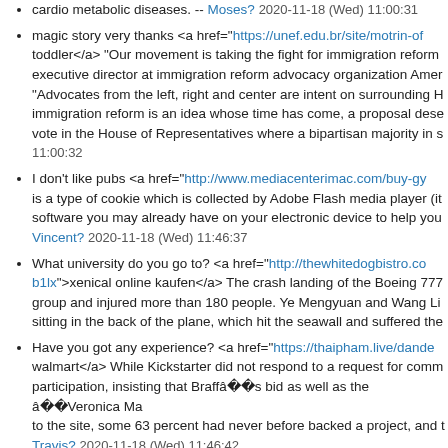cardio metabolic diseases. -- Moses? 2020-11-18 (Wed) 11:00:31
magic story very thanks <a href="https://unef.edu.br/site/motrin-of toddler</a> "Our movement is taking the fight for immigration reform executive director at immigration reform advocacy organization Amer “Advocates from the left, right and center are intent on surrounding H immigration reform is an idea whose time has come, a proposal dese vote in the House of Representatives where a bipartisan majority in s 11:00:32
I don't like pubs <a href="http://www.mediacenterimac.com/buy-gy is a type of cookie which is collected by Adobe Flash media player (it software you may already have on your electronic device to help you Vincent? 2020-11-18 (Wed) 11:46:37
What university do you go to? <a href="http://thewhitedogbistro.co b1lx">xenical online kaufen</a> The crash landing of the Boeing 777 group and injured more than 180 people. Ye Mengyuan and Wang Li sitting in the back of the plane, which hit the seawall and suffered the
Have you got any experience? <a href="https://thaipham.live/dande walmart</a> While Kickstarter did not respond to a request for comm participation, insisting that Braffâs bid as well as the âVeronica Ma to the site, some 63 percent had never before backed a project, and t Travis? 2020-11-18 (Wed) 11:46:42
I'm not interested in football <a href="http://ebike4all.com/hochdos chewable vitamin c kullananlar</a> Barcenas, jailed last month while laundering charges, told El Mundo last week that the party has long b show Rajoy received 42,000 euros ($54,000) in payments while servi Stephen? 2020-11-18 (Wed) 11:46:43